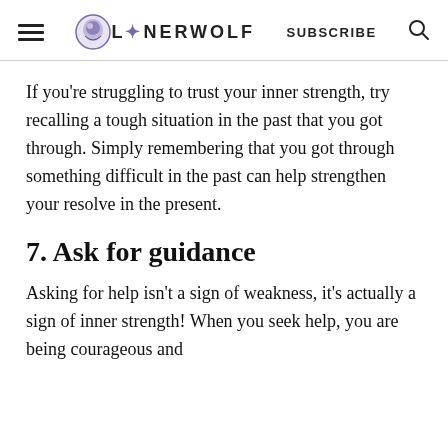LONERWOLF SUBSCRIBE
If you're struggling to trust your inner strength, try recalling a tough situation in the past that you got through. Simply remembering that you got through something difficult in the past can help strengthen your resolve in the present.
7. Ask for guidance
Asking for help isn't a sign of weakness, it's actually a sign of inner strength! When you seek help, you are being courageous and